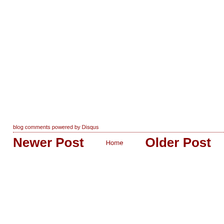blog comments powered by Disqus
Newer Post   Home   Older Post